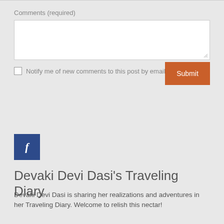Comments (required)
[Figure (screenshot): Text input textarea with resize handle]
Notify me of new comments to this post by email
Submit
[Figure (logo): Facebook icon button — dark blue square with white italic f]
Devaki Devi Dasi's Traveling Diary
Devaki Devi Dasi is sharing her realizations and adventures in her Traveling Diary. Welcome to relish this nectar!